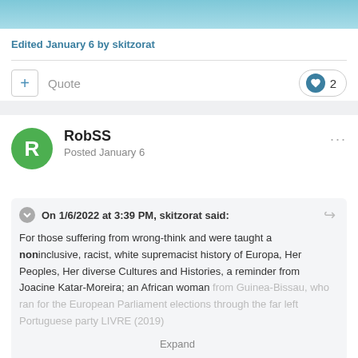[Figure (photo): Top portion of an image with blue/teal tones, partially cropped]
Edited January 6 by skitzorat
+ Quote  2 (likes)
RobSS
Posted January 6
On 1/6/2022 at 3:39 PM, skitzorat said:

For those suffering from wrong-think and were taught a noninclusive, racist, white supremacist history of Europa, Her Peoples, Her diverse Cultures and Histories, a reminder from Joacine Katar-Moreira; an African woman from Guinea-Bissau, who ran for the European Parliament elections through the far left Portuguese party LIVRE (2019)
Expand